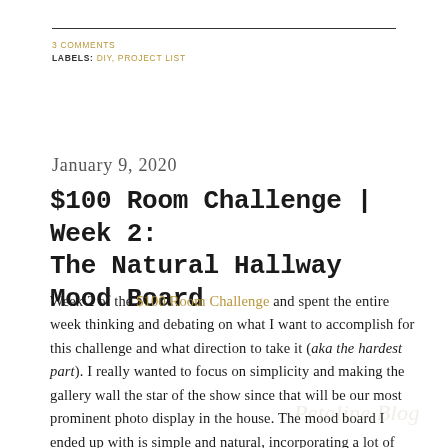3 COMMENTS
LABELS: DIY, PROJECT LIST
January 9, 2020
$100 Room Challenge | Week 2: The Natural Hallway Mood Board
Week 2 of the $100 Room Challenge and spent the entire week thinking and debating on what I want to accomplish for this challenge and what direction to take it (aka the hardest part). I really wanted to focus on simplicity and making the gallery wall the star of the show since that will be our most prominent photo display in the house. The mood board I ended up with is simple and natural, incorporating a lot of different shapes and texture.